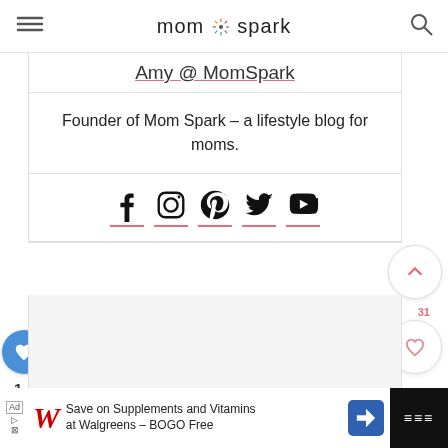mom spark
Amy @ MomSpark
Founder of Mom Spark – a lifestyle blog for moms.
[Figure (infographic): Social media icons row: Facebook, Instagram, Pinterest, Twitter, YouTube, each with a pink underline]
[Figure (infographic): UI floating action buttons: blue heart button on left, count 1, share button; right side: scroll-up button, heart/like button with count 31, pink search button]
[Figure (infographic): Advertisement bar: Walgreens logo, text 'Save on Supplements and Vitamins at Walgreens - BOGO Free', navigation arrow icon]